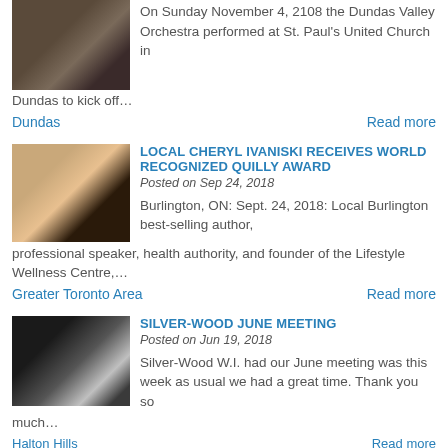[Figure (photo): Photo of a person in a church pew, dark interior]
On Sunday November 4, 2108 the Dundas Valley Orchestra performed at St. Paul's United Church in Dundas to kick off…
Dundas   Read more
[Figure (photo): Portrait photo of a blonde woman in a black outfit with a necklace, smiling]
LOCAL CHERYL IVANISKI RECEIVES WORLD RECOGNIZED QUILLY AWARD
Posted on Sep 24, 2018
Burlington, ON: Sept. 24, 2018: Local Burlington best-selling author, professional speaker, health authority, and founder of the Lifestyle Wellness Centre,…
Greater Toronto Area   Read more
[Figure (photo): Dark photo showing a presentation screen or projector in a room]
SILVER-WOOD JUNE MEETING
Posted on Jun 19, 2018
Silver-Wood W.I. had our June meeting was this week as usual we had a great time. Thank you so much…
Halton Hills   Read more